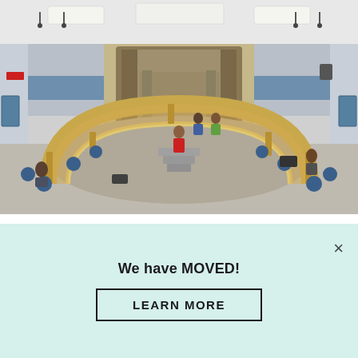[Figure (photo): Interior of a school council chamber or auditorium with a large curved wooden desk arrangement, blue office chairs, students and adults present, stage with steps in background, fluorescent ceiling lights, blue accent walls.]
CLUBS AT BYRNE CREEK ENCOURAGE PARTICIPATION
We have MOVED!
LEARN MORE